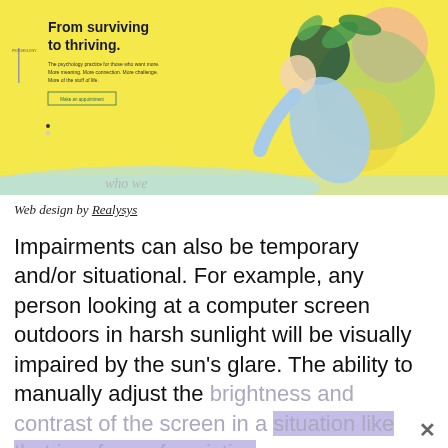[Figure (screenshot): Screenshot of a website with yellow background showing 'From surviving to thriving.' headline with illustrated figure of a person and tropical leaves, with a 'Make an appointment' button. Psychology practice web design.]
Web design by Realysys
Impairments can also be temporary and/or situational. For example, any person looking at a computer screen outdoors in harsh sunlight will be visually impaired by the sun's glare. The ability to manually adjust the brightness and contrast of the screen in a situation like that is a form of assistive